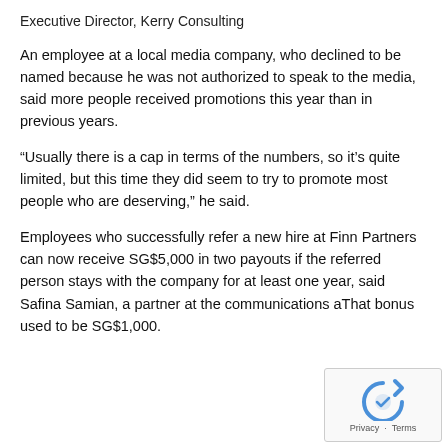Executive Director, Kerry Consulting
An employee at a local media company, who declined to be named because he was not authorized to speak to the media, said more people received promotions this year than in previous years.
“Usually there is a cap in terms of the numbers, so it’s quite limited, but this time they did seem to try to promote most people who are deserving,” he said.
Employees who successfully refer a new hire at Finn Partners can now receive SG$5,000 in two payouts if the referred person stays with the company for at least one year, said Safina Samian, a partner at the communications a… That bonus used to be SG$1,000.